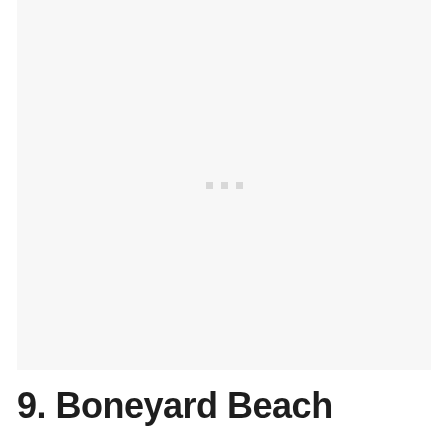[Figure (photo): Large image area, mostly blank/white with a very light gray background, containing three small light gray square dots centered in the middle of the image area, indicating a loading or placeholder image state.]
9. Boneyard Beach